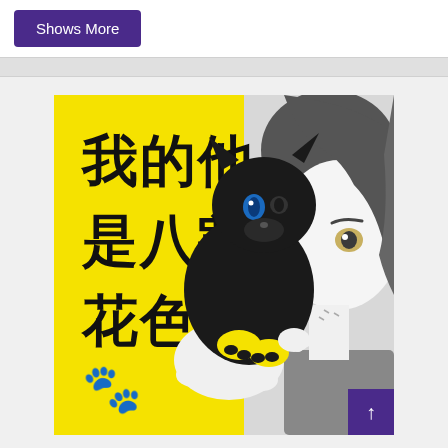Shows More
[Figure (illustration): Manga/anime style illustration with yellow background showing Chinese text '我的他是八割花色猫' (My boyfriend is 80% calico cat) with a person holding a black cat close to their face. A purple scroll-to-top button is in the bottom right corner.]